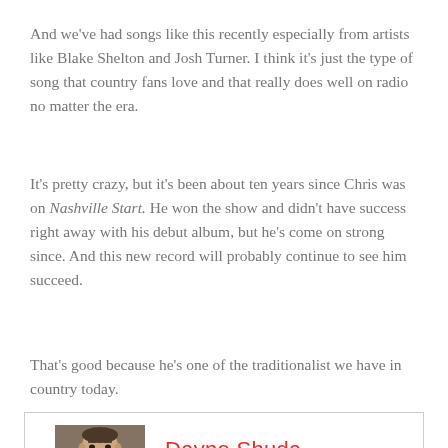And we've had songs like this recently especially from artists like Blake Shelton and Josh Turner. I think it's just the type of song that country fans love and that really does well on radio no matter the era.
It's pretty crazy, but it's been about ten years since Chris was on Nashville Start. He won the show and didn't have success right away with his debut album, but he's come on strong since. And this new record will probably continue to see him succeed.
That's good because he's one of the traditionalist we have in country today.
[Figure (photo): Author bio box with photo of Dayne Shuda (man in grey/brown background) on the left and name 'Dayne Shuda' in red on the right]